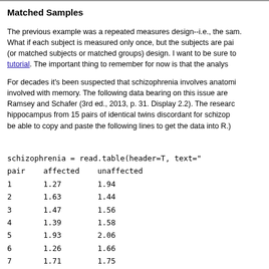Matched Samples
The previous example was a repeated measures design--i.e., the sam. What if each subject is measured only once, but the subjects are pai (or matched subjects or matched groups) design. I want to be sure to tutorial. The important thing to remember for now is that the analys
For decades it's been suspected that schizophrenia involves anatomi involved with memory. The following data bearing on this issue are Ramsey and Schafer (3rd ed., 2013, p. 31. Display 2.2). The researc hippocampus from 15 pairs of identical twins discordant for schizop be able to copy and paste the following lines to get the data into R.)
schizophrenia = read.table(header=T, text="
pair    affected    unaffected
1       1.27        1.94
2       1.63        1.44
3       1.47        1.56
4       1.39        1.58
5       1.93        2.06
6       1.26        1.66
7       1.71        1.75
8       1.67        1.77
9       1.28        1.78